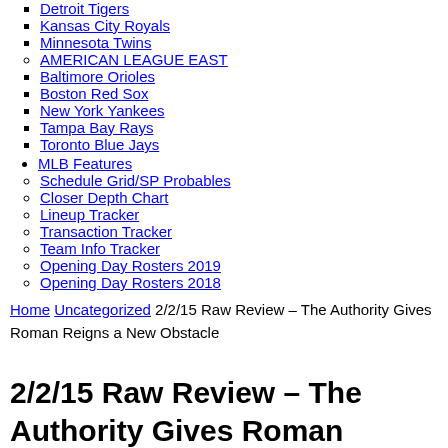Detroit Tigers
Kansas City Royals
Minnesota Twins
AMERICAN LEAGUE EAST
Baltimore Orioles
Boston Red Sox
New York Yankees
Tampa Bay Rays
Toronto Blue Jays
MLB Features
Schedule Grid/SP Probables
Closer Depth Chart
Lineup Tracker
Transaction Tracker
Team Info Tracker
Opening Day Rosters 2019
Opening Day Rosters 2018
Home Uncategorized 2/2/15 Raw Review – The Authority Gives Roman Reigns a New Obstacle
2/2/15 Raw Review – The Authority Gives Roman Reigns a New Obstacle